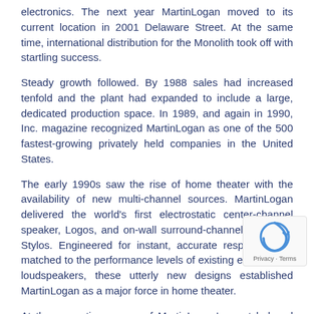electronics. The next year MartinLogan moved to its current location in 2001 Delaware Street. At the same time, international distribution for the Monolith took off with startling success.
Steady growth followed. By 1988 sales had increased tenfold and the plant had expanded to include a large, dedicated production space. In 1989, and again in 1990, Inc. magazine recognized MartinLogan as one of the 500 fastest-growing privately held companies in the United States.
The early 1990s saw the rise of home theater with the availability of new multi-channel sources. MartinLogan delivered the world's first electrostatic center-channel speaker, Logos, and on-wall surround-channel speakers, Stylos. Engineered for instant, accurate response, and matched to the performance levels of existing electrostatic loudspeakers, these utterly new designs established MartinLogan as a major force in home theater.
At the same time, some of MartinLogan's most beloved electrostatic loudspeakers were introduced, including the bold